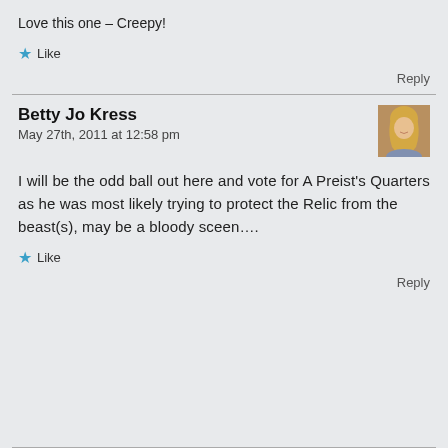Love this one – Creepy!
★ Like
Reply
Betty Jo Kress
May 27th, 2011 at 12:58 pm
I will be the odd ball out here and vote for A Preist's Quarters as he was most likely trying to protect the Relic from the beast(s), may be a bloody sceen….
★ Like
Reply